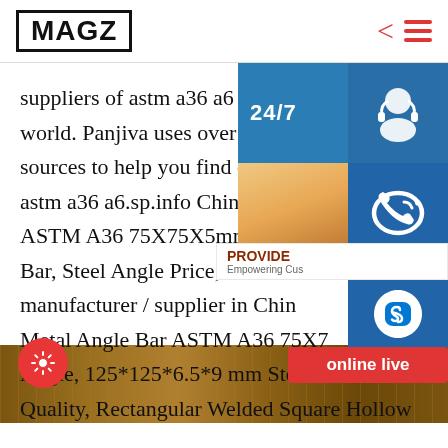MAGZ
suppliers of astm a36 a6 from around the world. Panjiva uses over 30 international sources to help you find qualified astm a36 a6.sp.info China Metal ASTM A36 75X75X5mm Steel Angle Bar, Steel Angle Price, Price Steel manufacturer / supplier in China, Metal Angle Bar ASTM A36 75X75 Angle, 125*125*6.5*9 mm Steel H Beam with Quality, Rectangular Welded Square Hollow Sections Steel Pipe and so on.
[Figure (screenshot): Overlay UI panel showing 24/7 chat support icons, a customer service representative photo, PROVIDE / Empowering Customers branding, phone icon, Skype icon, and an 'online live' red button]